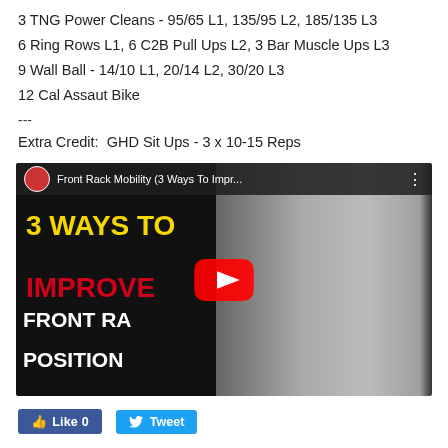3 TNG Power Cleans - 95/65 L1, 135/95 L2, 185/135 L3
6 Ring Rows L1, 6 C2B Pull Ups L2, 3 Bar Muscle Ups L3
9 Wall Ball - 14/10 L1, 20/14 L2, 30/20 L3
12 Cal Assaut Bike
---
Extra Credit:  GHD Sit Ups - 3 x 10-15 Reps
[Figure (screenshot): YouTube video thumbnail for 'Front Rack Mobility (3 Ways To Impr...' showing text '3 WAYS TO IMPROVE FRONT RACK POSITION' with a YouTube play button overlay and an athlete in a front rack position.]
Like 0   Tweet